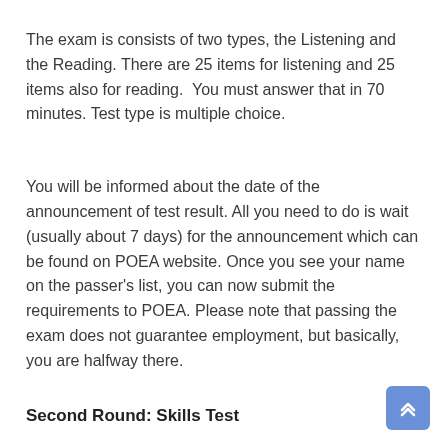The exam is consists of two types, the Listening and the Reading. There are 25 items for listening and 25 items also for reading.  You must answer that in 70 minutes. Test type is multiple choice.
You will be informed about the date of the announcement of test result. All you need to do is wait (usually about 7 days) for the announcement which can be found on POEA website. Once you see your name on the passer's list, you can now submit the requirements to POEA. Please note that passing the exam does not guarantee employment, but basically, you are halfway there.
Second Round: Skills Test